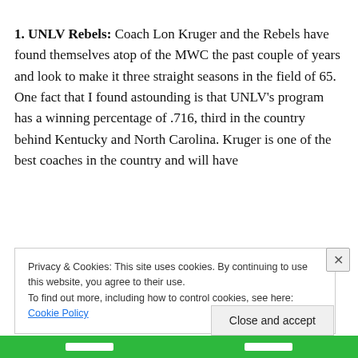1. UNLV Rebels: Coach Lon Kruger and the Rebels have found themselves atop of the MWC the past couple of years and look to make it three straight seasons in the field of 65. One fact that I found astounding is that UNLV's program has a winning percentage of .716, third in the country behind Kentucky and North Carolina. Kruger is one of the best coaches in the country and will have
Privacy & Cookies: This site uses cookies. By continuing to use this website, you agree to their use.
To find out more, including how to control cookies, see here: Cookie Policy
Close and accept